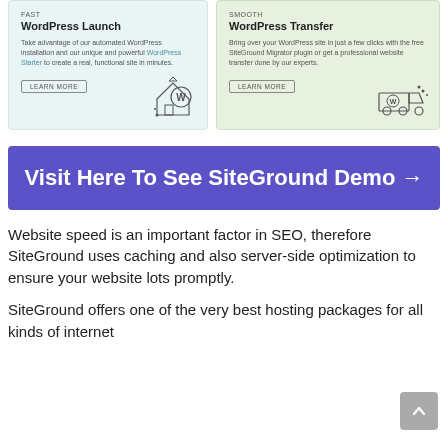[Figure (illustration): WordPress Launch card with house and WordPress logo icon on light teal background, label FAST, title WordPress Launch, description text about automated WordPress installation, and LEARN MORE button]
[Figure (illustration): WordPress Transfer card with delivery truck and WordPress logo icon on light green background, label SMOOTH, title WordPress Transfer, description text about SiteGround Migrator plugin, and LEARN MORE button]
Visit Here To See SiteGround Demo →
Website speed is an important factor in SEO, therefore SiteGround uses caching and also server-side optimization to ensure your website lots promptly.
SiteGround offers one of the very best hosting packages for all kinds of internet